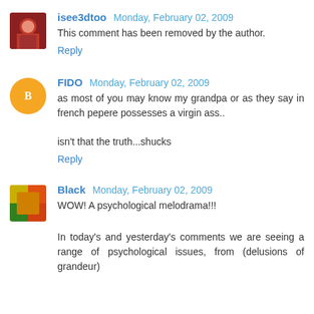[Figure (photo): Avatar photo of isee3dtoo - person in red]
isee3dtoo  Monday, February 02, 2009
This comment has been removed by the author.
Reply
[Figure (illustration): Blogger default avatar - orange circle with B icon]
FIDO  Monday, February 02, 2009
as most of you may know my grandpa or as they say in french pepere possesses a virgin ass..
isn't that the truth...shucks
Reply
[Figure (photo): Avatar photo of Black - colorful image]
Black  Monday, February 02, 2009
WOW! A psychological melodrama!!!
In today's and yesterday's comments we are seeing a range of psychological issues, from (delusions of grandeur)